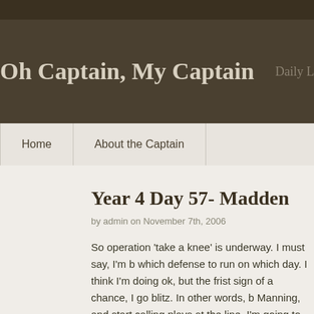Oh Captain, My Captain   Daily Life T
Home   About the Captain
Year 4 Day 57- Madden
by admin on November 7th, 2006
So operation ‘take a knee’ is underway. I must say, I’m b which defense to run on which day. I think I’m doing ok, but the frist sign of a chance, I go blitz. In other words, b Manning, and start calling plays at the line, I’m going to myself a C for effort.
I need to go to counseling again, and get a few more po